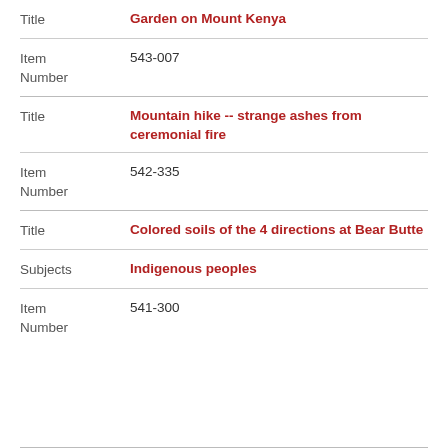| Field | Value |
| --- | --- |
| Title | Garden on Mount Kenya |
| Item Number | 543-007 |
| Field | Value |
| --- | --- |
| Title | Mountain hike -- strange ashes from ceremonial fire |
| Item Number | 542-335 |
| Field | Value |
| --- | --- |
| Title | Colored soils of the 4 directions at Bear Butte |
| Subjects | Indigenous peoples |
| Item Number | 541-300 |